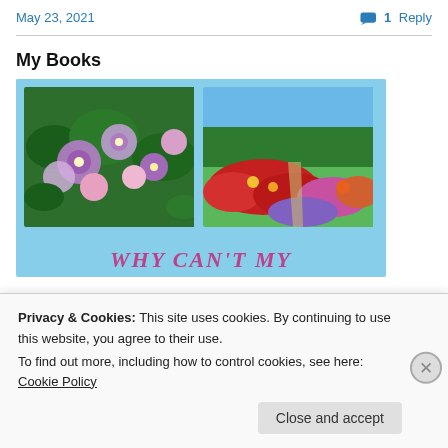May 23, 2021    💬 1 Reply
My Books
[Figure (illustration): Book cover image showing two flower garden photos side by side on a light blue sky background, with the text 'WHY CAN'T MY' in pink/magenta italic letters at the bottom]
Privacy & Cookies: This site uses cookies. By continuing to use this website, you agree to their use.
To find out more, including how to control cookies, see here: Cookie Policy
Close and accept